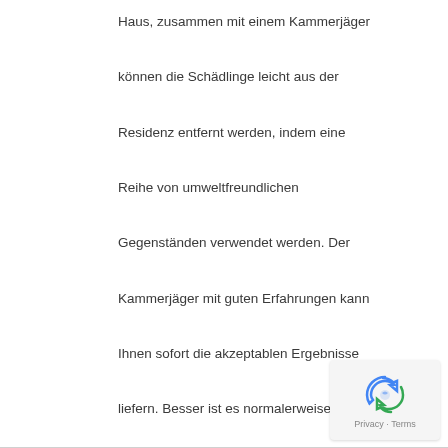Haus, zusammen mit einem Kammerjäger können die Schädlinge leicht aus der Residenz entfernt werden, indem eine Reihe von umweltfreundlichen Gegenständen verwendet werden. Der Kammerjäger mit guten Erfahrungen kann Ihnen sofort die akzeptablen Ergebnisse liefern. Besser ist es normalerweise, auf den Link zu Kammerjäger für Ameisen klicken oder sogar unsere öffentliche Website zu besuchen, um mehr über Kammerjäger zu erfahren .
[Figure (other): reCAPTCHA privacy badge with revolving arrows icon and 'Privacy - Terms' text]